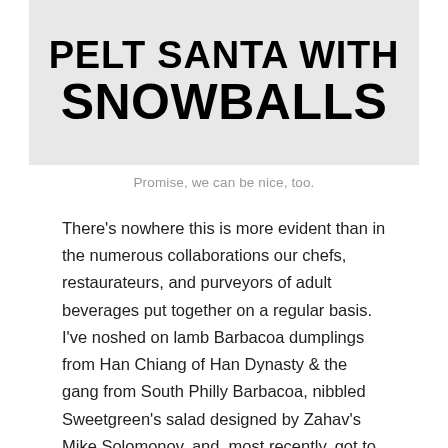[Figure (photo): Black and white image with bold text reading 'PELT SANTA WITH SNOWBALLS']
Promise, we can be nice, too.
There’s nowhere this is more evident than in the numerous collaborations our chefs, restaurateurs, and purveyors of adult beverages put together on a regular basis. I’ve noshed on lamb Barbacoa dumplings from Han Chiang of Han Dynasty & the gang from South Philly Barbacoa, nibbled Sweetgreen’s salad designed by Zahav’s Mike Solomonov, and, most recently, got to enjoy a pastry and drink pairing courtesy of two of Fishtown’s sweethearts (and neighbors!) – Cake Life and Kensington Quarters.